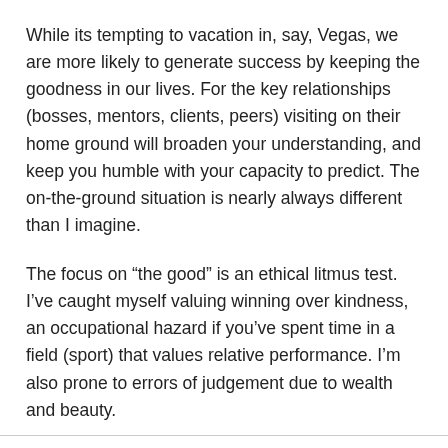While its tempting to vacation in, say, Vegas, we are more likely to generate success by keeping the goodness in our lives. For the key relationships (bosses, mentors, clients, peers) visiting on their home ground will broaden your understanding, and keep you humble with your capacity to predict. The on-the-ground situation is nearly always different than I imagine.
The focus on “the good” is an ethical litmus test. I’ve caught myself valuing winning over kindness, an occupational hazard if you’ve spent time in a field (sport) that values relative performance. I’m also prone to errors of judgement due to wealth and beauty.
Choose Wisely.